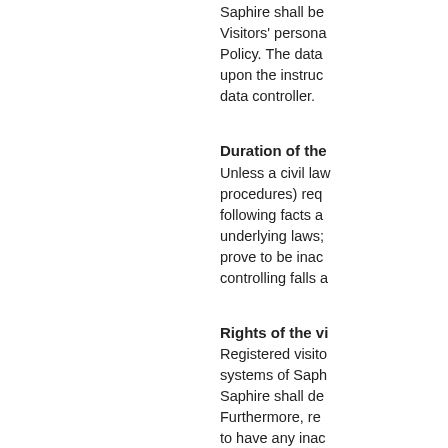Saphire shall be Visitors' personal Policy. The data upon the instruc data controller.
Duration of the
Unless a civil law procedures) req following facts a underlying laws; prove to be inac controlling falls a
Rights of the vi
Registered visto systems of Saph Saphire shall de Furthermore, re to have any inac
Security